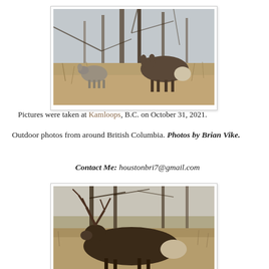[Figure (photo): Two deer standing among dry brush and bare trees in a wooded area. One deer faces left, one faces right.]
Pictures were taken at Kamloops, B.C. on October 31, 2021.
Outdoor photos from around British Columbia. Photos by Brian Vike.
Contact Me: houstonbri7@gmail.com
[Figure (photo): Close-up of a large buck deer with antlers among dry brush and bare trees.]